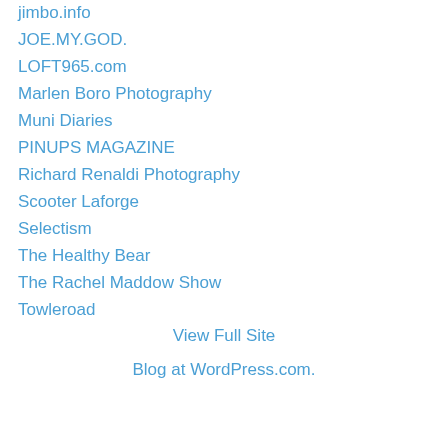jimbo.info
JOE.MY.GOD.
LOFT965.com
Marlen Boro Photography
Muni Diaries
PINUPS MAGAZINE
Richard Renaldi Photography
Scooter Laforge
Selectism
The Healthy Bear
The Rachel Maddow Show
Towleroad
View Full Site
Blog at WordPress.com.